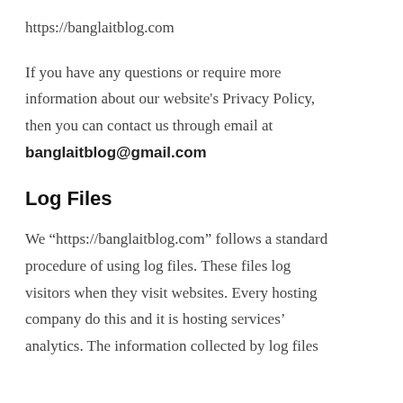https://banglaitblog.com
If you have any questions or require more information about our website's Privacy Policy, then you can contact us through email at banglaitblog@gmail.com
Log Files
We “https://banglaitblog.com” follows a standard procedure of using log files. These files log visitors when they visit websites. Every hosting company do this and it is hosting services' analytics. The information collected by log files